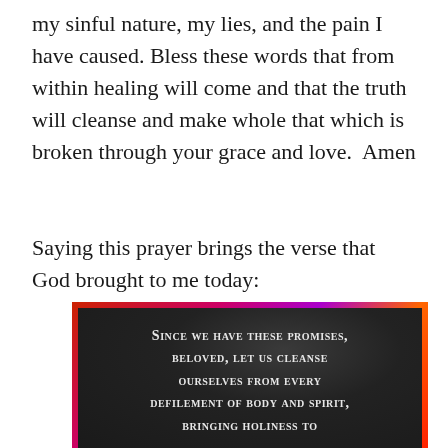my sinful nature, my lies, and the pain I have caused. Bless these words that from within healing will come and that the truth will cleanse and make whole that which is broken through your grace and love.  Amen
Saying this prayer brings the verse that God brought to me today:
[Figure (photo): A dark stone or slate plaque with colorful red, orange, purple background border, displaying the text in small caps white serif font: 'Since we have these promises, beloved, let us cleanse ourselves from every defilement of body and spirit, bringing holiness to']